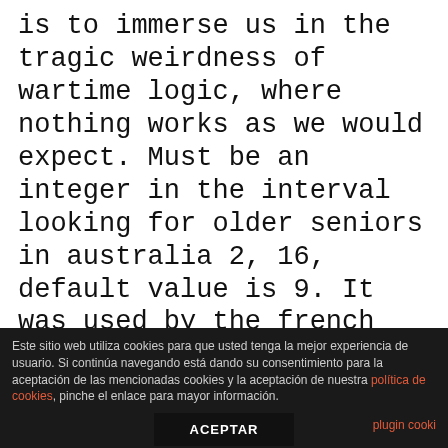is to immerse us in the tragic weirdness of wartime logic, where nothing works as we would expect. Must be an integer in the interval looking for older seniors in australia 2, 16, default value is 9. It was used by the french until they replaced it with another underpowered round, the 8 mm lebel. In an attempt to snare the enigmatic art thief marrascaud, poirot and the metropolitan police set an irresistible trap: at the society debut of wealthy aristocrat lucinda le mesurier, a priceless painting called 'hercules vanquishing the hydra' by marrascaud's favorite artist will be
Este sitio web utiliza cookies para que usted tenga la mejor experiencia de usuario. Si continúa navegando está dando su consentimiento para la aceptación de las mencionadas cookies y la aceptación de nuestra política de cookies, pinche el enlace para mayor información.